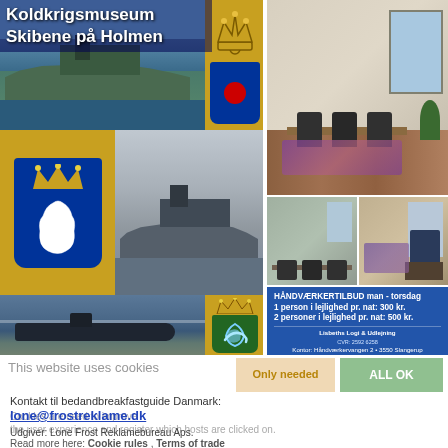[Figure (photo): Koldkrigsmuseum Skibene på Holmen - collage of military naval ships, submarines, and Danish naval emblems/coat of arms]
Koldkrigsmuseum
Skibene på Holmen
[Figure (photo): Apartment/office rental photos showing dining room, meeting room, and home office]
HÅNDVÆRKERTILBUD man - torsdag
1 person i lejlighed pr. nat: 300 kr.
2 personer i lejlighed pr. nat: 500 kr.
Lisbeths Logi & Udlejning
CVR: 2592 6258
Kontor: Håndværkervangen 2 • 3550 Slangerup
Telefon: +45 40 57 54 46
This website uses cookies
Only needed
ALL OK
Kontakt til bedandbreakfastguide Danmark:
Cookies are used to improve the user experience and register which hosts are clicked on.
lone@frostreклame.dk
Udgiver: Lone Frost Reklamebureau Aps.
Read more here: Cookie rules , Terms of trade
Åløkkegården - Åløkkevej 60
5800 Nyborg